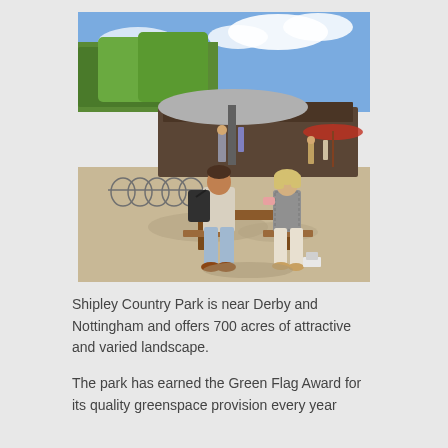[Figure (photo): Two people sitting at an outdoor picnic table in a sunny park area. One person has a backpack and faces left, talking to the other person who faces right. In the background there are bicycle racks, a large canopy/shelter structure, trees, and other visitors.]
Shipley Country Park is near Derby and Nottingham and offers 700 acres of attractive and varied landscape.
The park has earned the Green Flag Award for its quality greenspace provision every year